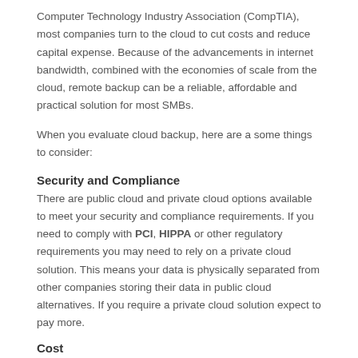Computer Technology Industry Association (CompTIA), most companies turn to the cloud to cut costs and reduce capital expense. Because of the advancements in internet bandwidth, combined with the economies of scale from the cloud, remote backup can be a reliable, affordable and practical solution for most SMBs.
When you evaluate cloud backup, here are a some things to consider:
Security and Compliance
There are public cloud and private cloud options available to meet your security and compliance requirements. If you need to comply with PCI, HIPPA or other regulatory requirements you may need to rely on a private cloud solution. This means your data is physically separated from other companies storing their data in public cloud alternatives. If you require a private cloud solution expect to pay more.
Cost